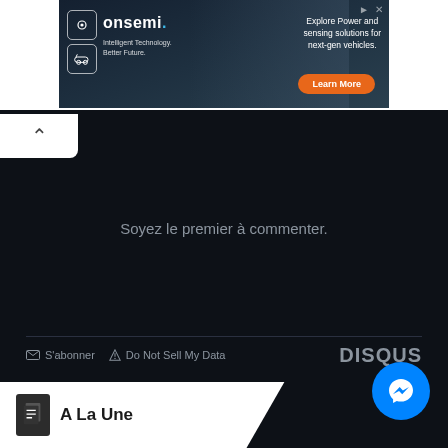[Figure (screenshot): onsemi advertisement banner with dark automotive background, hexagon icons, tagline 'Intelligent Technology. Better Future.', text 'Explore Power and sensing solutions for next-gen vehicles.' and orange 'Learn More' button]
[Figure (screenshot): Back/up arrow button in white box at top-left of dark section]
Soyez le premier à commenter.
S'abonner   Do Not Sell My Data
DISQUS
[Figure (screenshot): Blue circular Facebook Messenger button at bottom right]
[Figure (logo): A La Une logo strip at bottom left with white background, dark book icon and bold text 'A La Une']